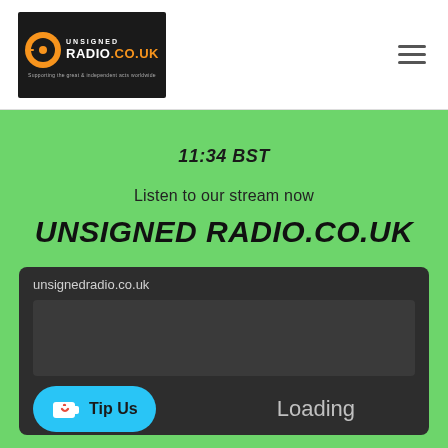[Figure (logo): Unsigned Radio logo on black background with vinyl record icon, text UNSIGNED RADIO.CO.UK and tagline]
11:34 BST
Listen to our stream now
UNSIGNED RADIO.CO.UK
unsignedradio.co.uk
Loading